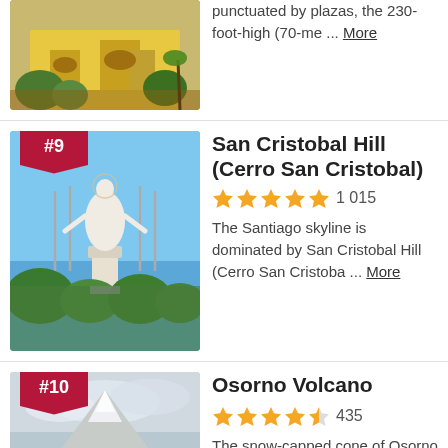[Figure (photo): Partial view of a historic yellow building with gardens and palm trees]
punctuated by plazas, the 230-foot-high (70-me ... More
[Figure (photo): San Cristobal Hill with large white Virgin Mary statue against blue sky, badge #9]
San Cristobal Hill (Cerro San Cristobal)
1 015 reviews, 5 stars
The Santiago skyline is dominated by San Cristobal Hill (Cerro San Cristoba ... More
[Figure (photo): Osorno Volcano snow-capped cone with river in foreground, badge #10]
Osorno Volcano
435 reviews, 4.5 stars
The snow-capped cone of Osorno Volcano is one of Chile's most recogniza ... More